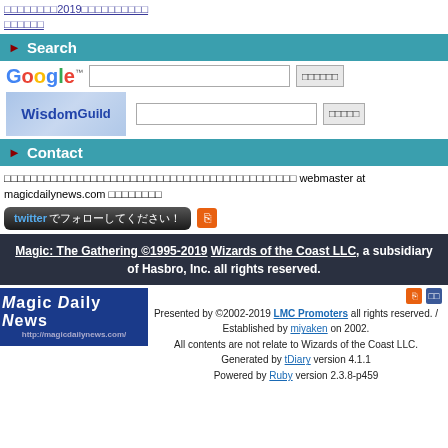□□□□□□□□2019□□□□□□□□□□ □□□□□□
▶ Search
[Figure (screenshot): Google search bar with Japanese button and WisdomGuild search bar with Japanese button]
▶ Contact
□□□□□□□□□□□□□□□□□□□□□□□□□□□□□□□□□□□□□□□□□□□□ webmaster at magicdailynews.com □□□□□□□□
[Figure (screenshot): Twitter follow button in Japanese and RSS icon]
Magic: The Gathering ©1995-2019 Wizards of the Coast LLC, a subsidiary of Hasbro, Inc. all rights reserved.
[Figure (logo): Magic Daily News logo]
Presented by ©2002-2019 LMC Promoters all rights reserved. / Established by miyaken on 2002. All contents are not relate to Wizards of the Coast LLC. Generated by tDiary version 4.1.1 Powered by Ruby version 2.3.8-p459